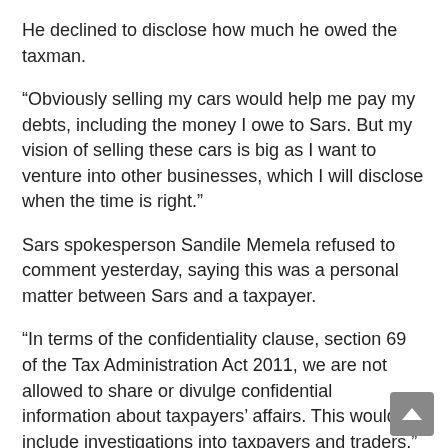He declined to disclose how much he owed the taxman.
“Obviously selling my cars would help me pay my debts, including the money I owe to Sars. But my vision of selling these cars is big as I want to venture into other businesses, which I will disclose when the time is right.”
Sars spokesperson Sandile Memela refused to comment yesterday, saying this was a personal matter between Sars and a taxpayer.
“In terms of the confidentiality clause, section 69 of the Tax Administration Act 2011, we are not allowed to share or divulge confidential information about taxpayers’ affairs. This would include investigations into taxpayers and traders,” Memela said.
This week rumours were doing the rounds that Sars raided Nzama’s house to repossess luxurious cars after he defaulted on his monthly instalment.
However, yesterday Nzama sought to clear the air.
“This is fake news. My cars were not repossessed. I volunteered to put my cars on auction because I realised that they were not